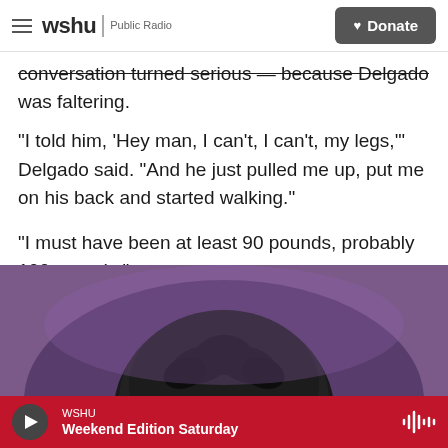wshu | Public Radio   ♥ Donate
conversation turned serious — because Delgado was faltering.
"I told him, 'Hey man, I can't, I can't, my legs,'" Delgado said. "And he just pulled me up, put me on his back and started walking."
"I must have been at least 90 pounds, probably 100 pounds."
[Figure (photo): Close-up photo of a person's head with dark hair, photographed from above, against a purple background.]
WSHU  Weekend Edition Saturday